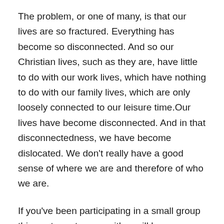The problem, or one of many, is that our lives are so fractured. Everything has become so disconnected. And so our Christian lives, such as they are, have little to do with our work lives, which have nothing to do with our family lives, which are only loosely connected to our leisure time.Our lives have become disconnected. And in that disconnectedness, we have become dislocated. We don't really have a good sense of where we are and therefore of who we are.
If you've been participating in a small group this past quarter, you either will have gone through or are going through the series ReFrame. In a nutshell, it talks about relocating ourselves in God's story. About finding our place, our lives in the midst of God's redemption story. The story of God redeeming this world. And then living out